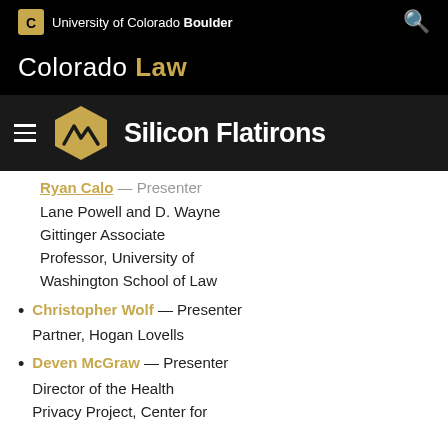University of Colorado Boulder
Colorado Law
[Figure (logo): Silicon Flatirons logo with hexagon mountain icon and text 'Silicon Flatirons']
Ryan Calo — Presenter
Lane Powell and D. Wayne Gittinger Associate Professor, University of Washington School of Law
Christopher Wolf — Presenter
Partner, Hogan Lovells
Deven McGraw — Presenter
Director of the Health Privacy Project, Center for